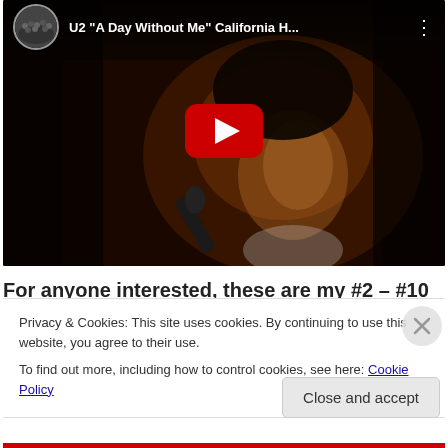[Figure (screenshot): YouTube video embed showing U2 'A Day Without Me' California H... with a singer performing into a microphone, dark background, red YouTube play button in center]
For anyone interested, these are my #2 – #10 favorite
Privacy & Cookies: This site uses cookies. By continuing to use this website, you agree to their use.
To find out more, including how to control cookies, see here: Cookie Policy